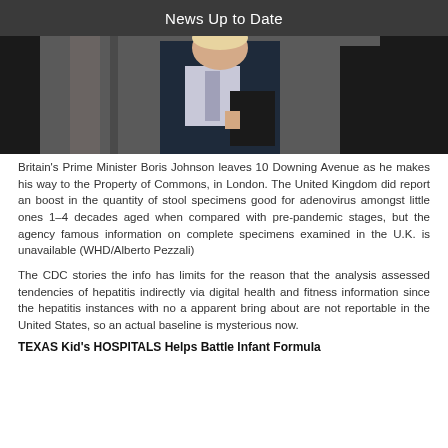News Up to Date
[Figure (photo): Britain's Prime Minister Boris Johnson in a dark suit carrying a black folder, leaving 10 Downing Avenue]
Britain's Prime Minister Boris Johnson leaves 10 Downing Avenue as he makes his way to the Property of Commons, in London. The United Kingdom did report an boost in the quantity of stool specimens good for adenovirus amongst little ones 1–4 decades aged when compared with pre-pandemic stages, but the agency famous information on complete specimens examined in the U.K. is unavailable (WHD/Alberto Pezzali)
The CDC stories the info has limits for the reason that the analysis assessed tendencies of hepatitis indirectly via digital health and fitness information since the hepatitis instances with no a apparent bring about are not reportable in the United States, so an actual baseline is mysterious now.
TEXAS Kid's HOSPITALS Helps Battle Infant Formula